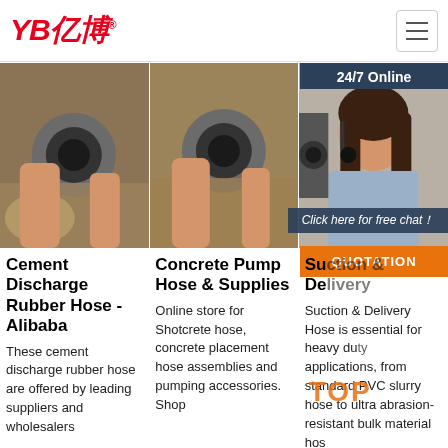YB亿博 (logo) — navigation header with hamburger menu
[Figure (photo): Close-up of a hand holding a rubber hose end, front view, first image]
[Figure (photo): Close-up of a hand holding a rubber hose end, front view, second image]
[Figure (photo): 24/7 Online customer service representative with headset, and rubber hose partial image]
Cement Discharge Rubber Hose - Alibaba
Concrete Pump Hose & Supplies
Suction & Delivery Hose
These cement discharge rubber hose are offered by leading suppliers and wholesalers
Online store for Shotcrete hose, concrete placement hose assemblies and pumping accessories. Shop
Suction & Delivery Hose is essential for heavy duty applications, from standard PVC slurry hose to ultra abrasion-resistant bulk material hos